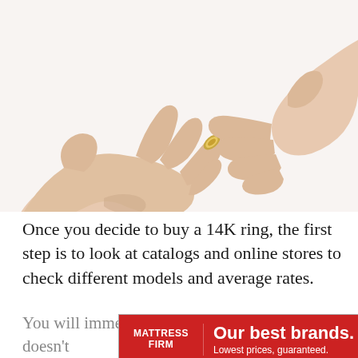[Figure (photo): Two hands with a gold wedding band ring being placed on a finger, white background]
Once you decide to buy a 14K ring, the first step is to look at catalogs and online stores to check different models and average rates.
You will immediately notice that this ring type doesn't ... prices
[Figure (other): Mattress Firm advertisement banner: 'Our best brands. Lowest prices, guaranteed.']